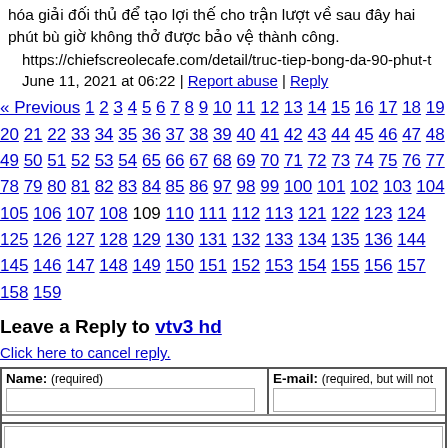hóa giải đối thủ để tạo lợi thế cho trận lượt về sau đây hai phút bù giờ không thở được bảo vệ thành công.
https://chiefscreolecafe.com/detail/truc-tiep-bong-da-90-phut-t
June 11, 2021 at 06:22 | Report abuse | Reply
« Previous 1 2 3 4 5 6 7 8 9 10 11 12 13 14 15 16 17 18 19 20 21 22 ... 33 34 35 36 37 38 39 40 41 42 43 44 45 46 47 48 49 50 51 52 53 54 ... 65 66 67 68 69 70 71 72 73 74 75 76 77 78 79 80 81 82 83 84 85 86 ... 97 98 99 100 101 102 103 104 105 106 107 108 109 110 111 112 113... 121 122 123 124 125 126 127 128 129 130 131 132 133 134 135 136... 144 145 146 147 148 149 150 151 152 153 154 155 156 157 158 159...
Leave a Reply to vtv3 hd
Click here to cancel reply.
CNN welcomes a lively and courteous discussion as long as you follow the Rules...